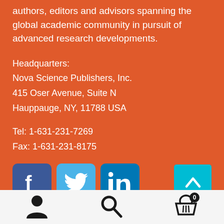authors, editors and advisors spanning the global academic community in pursuit of advanced research developments.
Headquarters:
Nova Science Publishers, Inc.
415 Oser Avenue, Suite N
Hauppauge, NY, 11788 USA
Tel: 1-631-231-7269
Fax: 1-631-231-8175
[Figure (infographic): Social media icons: Facebook, Twitter, LinkedIn buttons and a teal up-arrow button on the right]
[Figure (infographic): Bottom navigation bar with person/account icon, search magnifier icon, and shopping basket icon with 0 badge]